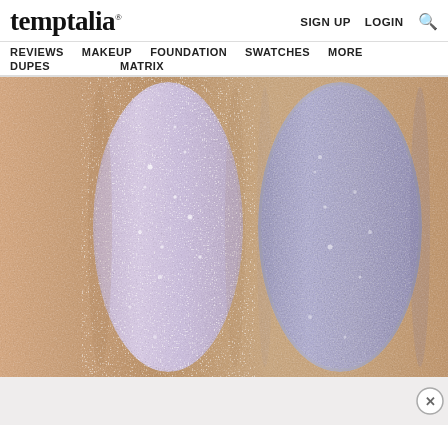temptalia® | SIGN UP  LOGIN  🔍
REVIEWS  MAKEUP DUPES  FOUNDATION MATRIX  SWATCHES  MORE
[Figure (photo): Close-up macro photo of two shimmer eyeshadow swatches on skin — left swatch is a lighter lavender-pink with glitter, right swatch is a deeper cool blue-violet with metallic shimmer]
[Figure (photo): Bottom ad strip area with a close (X) button in a circle on the right side]